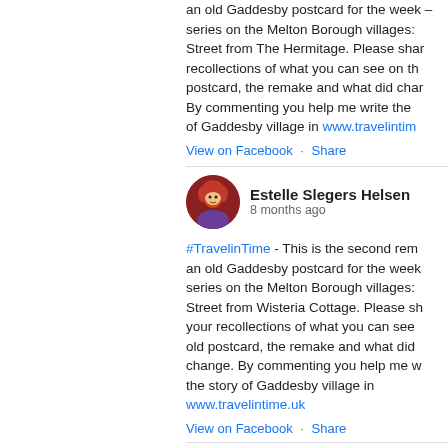an old Gaddesby postcard for the week – series on the Melton Borough villages: Street from The Hermitage. Please share recollections of what you can see on the postcard, the remake and what did change. By commenting you help me write the story of Gaddesby village in www.travelintime.uk
View on Facebook · Share
Estelle Slegers Helsen
8 months ago
#TravelinTime - This is the second remake an old Gaddesby postcard for the week – series on the Melton Borough villages: Street from Wisteria Cottage. Please share your recollections of what you can see on the old postcard, the remake and what did change. By commenting you help me write the story of Gaddesby village in www.travelintime.uk
View on Facebook · Share